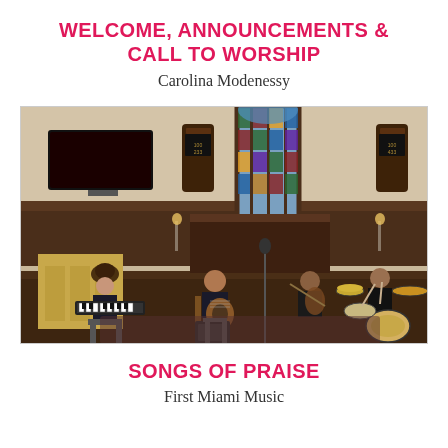WELCOME, ANNOUNCEMENTS & CALL TO WORSHIP
Carolina Modenessy
[Figure (photo): Interior of a church sanctuary with musicians performing. Four musicians with instruments including guitar and drums are visible. Brown wood paneling, a stained glass window in the background, and two hymn number boards on the walls. A pulpit is on the left side.]
SONGS OF PRAISE
First Miami Music